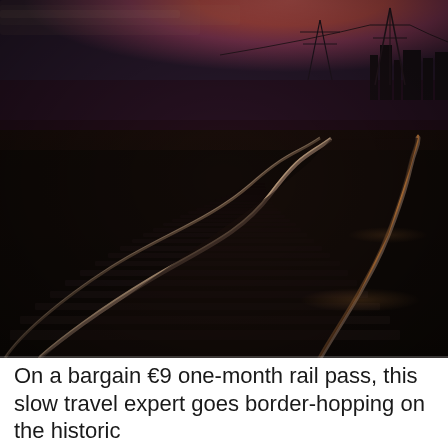[Figure (photo): Nighttime/dusk photograph of railroad tracks curving to the right, with the tracks reflecting a warm orange-gold glow against a dark landscape. The sky in the background shows a pink-orange sunset with silhouettes of electricity pylons and distant buildings.]
On a bargain €9 one-month rail pass, this slow travel expert goes border-hopping on the historic